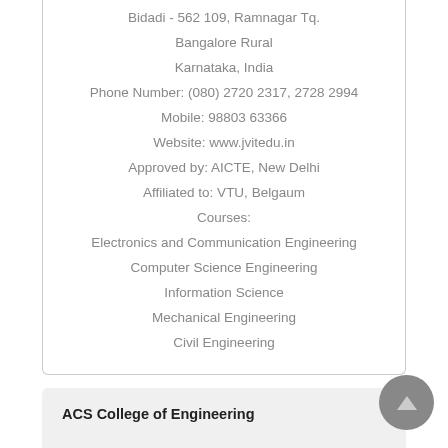Bidadi - 562 109, Ramnagar Tq.
Bangalore Rural
Karnataka, India
Phone Number: (080) 2720 2317, 2728 2994
Mobile: 98803 63366
Website: www.jvitedu.in
Approved by: AICTE, New Delhi
Affiliated to: VTU, Belgaum
Courses:
Electronics and Communication Engineering
Computer Science Engineering
Information Science
Mechanical Engineering
Civil Engineering
ACS College of Engineering